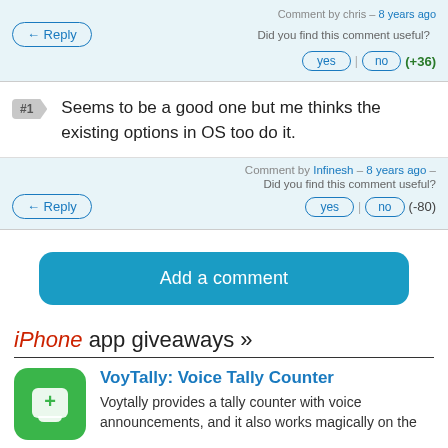Comment by chris – 8 years ago
Did you find this comment useful?
yes | no (+36)
Seems to be a good one but me thinks the existing options in OS too do it.
Comment by Infinesh – 8 years ago – Did you find this comment useful?
yes | no (-80)
Add a comment
iPhone app giveaways »
VoyTally: Voice Tally Counter
Voytally provides a tally counter with voice announcements, and it also works magically on the